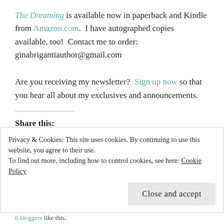The Dreaming is available now in paperback and Kindle from Amazon.com.  I have autographed copies available, too!  Contact me to order: ginabrigantiauthor@gmail.com
Are you receiving my newsletter?  Sign up now so that you hear all about my exclusives and announcements.
Share this:
Privacy & Cookies: This site uses cookies. By continuing to use this website, you agree to their use. To find out more, including how to control cookies, see here: Cookie Policy
Close and accept
6 bloggers like this.